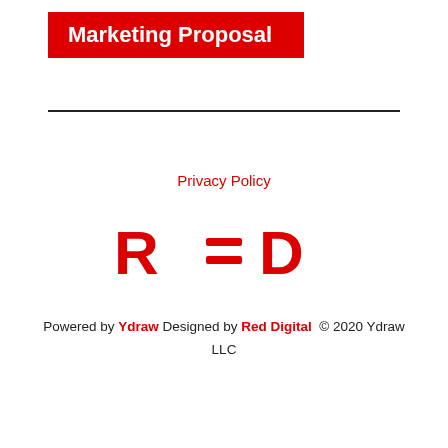Marketing Proposal
Privacy Policy
[Figure (logo): RED logo in red text with stylized letters]
Powered by Ydraw Designed by Red Digital  © 2020 Ydraw LLC